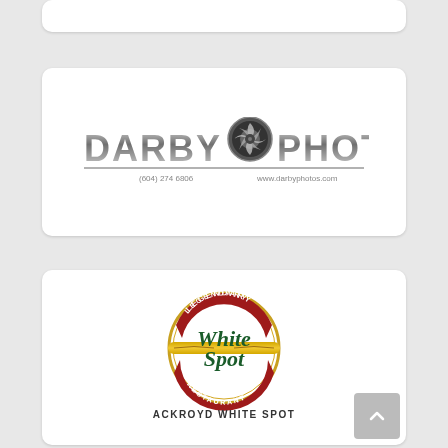[Figure (logo): Partial card at top, clipped]
[Figure (logo): Darby Photos logo with camera lens icon, phone (604) 274 6806 and website www.darbyphotos.com]
[Figure (logo): White Spot Legendary Restaurant logo with circular badge, green script text 'White Spot', red banner, and text 'ACKROYD WHITE SPOT' below]